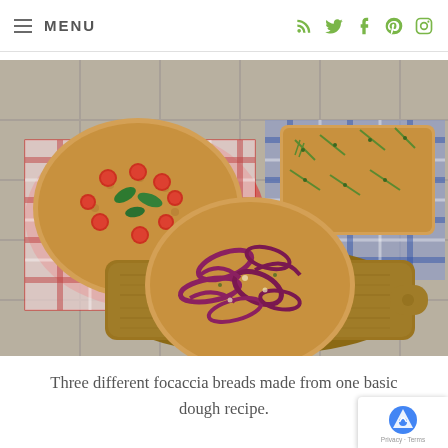MENU
[Figure (photo): Three focaccia breads arranged on a stone tile surface. Left: round focaccia with cherry tomatoes and basil on a red gingham cloth. Right: rectangular focaccia with rosemary on a blue gingham cloth. Center-bottom: round focaccia with red onions on a wooden cutting board.]
Three different focaccia breads made from one basic dough recipe.